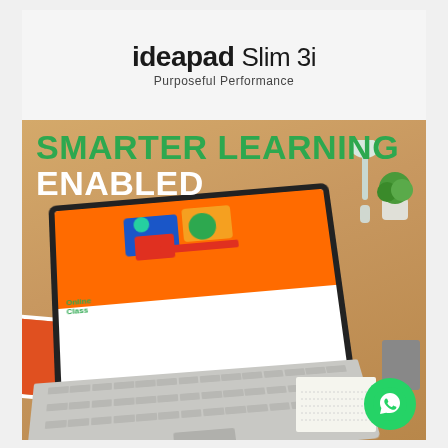ideapad Slim 3i
Purposeful Performance
SMARTER LEARNING ENABLED
[Figure (photo): Lenovo IdeaPad Slim 3i laptop open on a wooden desk showing an Online Class screen, with a plant, lamp, notebook, and a WhatsApp contact button in the corner]